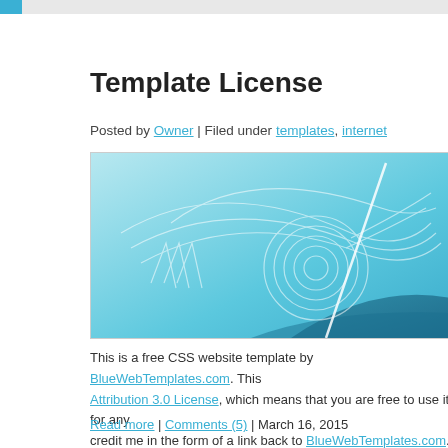Template License
Posted by Owner | Filed under templates, internet
[Figure (illustration): Blue abstract decorative banner with swirling line art patterns and geometric curves on a light blue gradient background with darker blue wave in lower right.]
This is a free CSS website template by BlueWebTemplates.com. This ... Attribution 3.0 License, which means that you are free to use it for any... credit me in the form of a link back to BlueWebTemplates.com.
Read more | Comments (5) | March 16, 2015